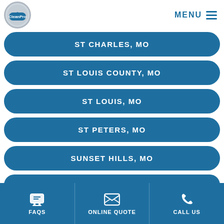CleanPro — MENU
ST CHARLES, MO
ST LOUIS COUNTY, MO
ST LOUIS, MO
ST PETERS, MO
SUNSET HILLS, MO
TOWN AND COUNTRY, MO
FAQS | ONLINE QUOTE | CALL US